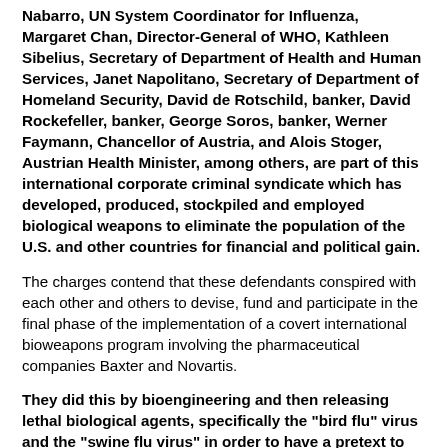Nabarro, UN System Coordinator for Influenza, Margaret Chan, Director-General of WHO, Kathleen Sibelius, Secretary of Department of Health and Human Services, Janet Napolitano, Secretary of Department of Homeland Security, David de Rotschild, banker, David Rockefeller, banker, George Soros, banker, Werner Faymann, Chancellor of Austria, and Alois Stoger, Austrian Health Minister, among others, are part of this international corporate criminal syndicate which has developed, produced, stockpiled and employed biological weapons to eliminate the population of the U.S. and other countries for financial and political gain.
The charges contend that these defendants conspired with each other and others to devise, fund and participate in the final phase of the implementation of a covert international bioweapons program involving the pharmaceutical companies Baxter and Novartis.
They did this by bioengineering and then releasing lethal biological agents, specifically the "bird flu" virus and the "swine flu virus" in order to have a pretext to